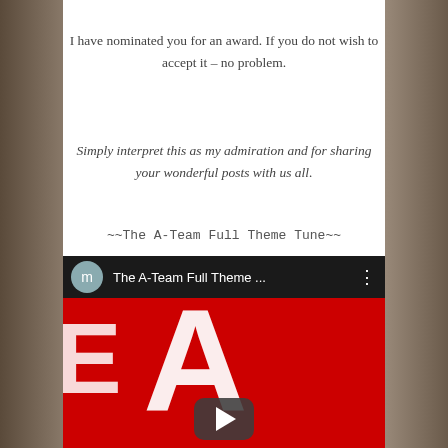I have nominated you for an award. If you do not wish to accept it – no problem.
Simply interpret this as my admiration and for sharing your wonderful posts with us all.
~~The A-Team Full Theme Tune~~
[Figure (screenshot): YouTube video embed showing 'The A-Team Full Theme ...' with a red thumbnail featuring a large white letter A and a play button]